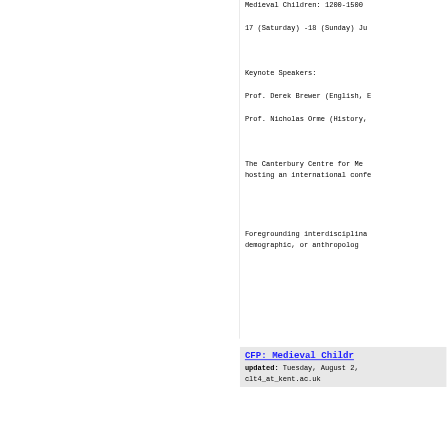Medieval Children: 1200-1500
17 (Saturday) -18 (Sunday) Ju
Keynote Speakers:
Prof. Derek Brewer (English, E
Prof. Nicholas Orme (History,
The Canterbury Centre for Me hosting an international confe
Foregrounding interdisciplina demographic, or anthropolog
CFP: Medieval Childr
updated: Tuesday, August 2,
clt4_at_kent.ac.uk